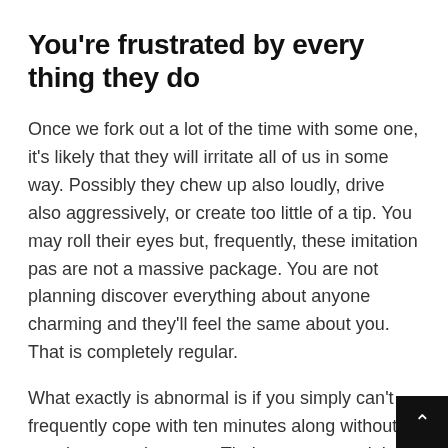You're frustrated by every thing they do
Once we fork out a lot of the time with some one, it's likely that they will irritate all of us in some way. Possibly they chew up also loudly, drive also aggressively, or create too little of a tip. You may roll their eyes but, frequently, these imitation pas are not a massive package. You are not planning discover everything about anyone charming and they'll feel the same about you. That is completely regular.
What exactly is abnormal is if you simply can't frequently cope with ten minutes along without wanting to cry in stress. Their own steps might appear to be one offensive string of terrible behaviour after another — and that is not good